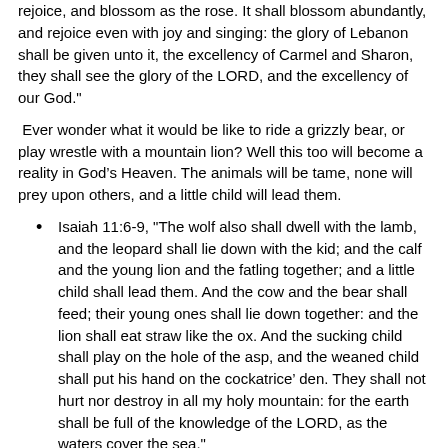rejoice, and blossom as the rose. It shall blossom abundantly, and rejoice even with joy and singing: the glory of Lebanon shall be given unto it, the excellency of Carmel and Sharon, they shall see the glory of the LORD, and the excellency of our God."
Ever wonder what it would be like to ride a grizzly bear, or play wrestle with a mountain lion? Well this too will become a reality in God’s Heaven. The animals will be tame, none will prey upon others, and a little child will lead them.
Isaiah 11:6-9, "The wolf also shall dwell with the lamb, and the leopard shall lie down with the kid; and the calf and the young lion and the fatling together; and a little child shall lead them. And the cow and the bear shall feed; their young ones shall lie down together: and the lion shall eat straw like the ox. And the sucking child shall play on the hole of the asp, and the weaned child shall put his hand on the cockatrice’ den. They shall not hurt nor destroy in all my holy mountain: for the earth shall be full of the knowledge of the LORD, as the waters cover the sea."
Isaiah 65:25, "The wolf and the lamb shall feed